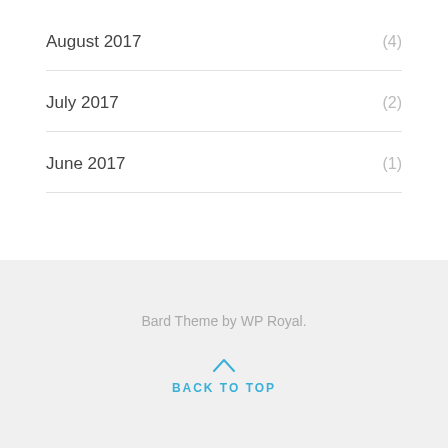August 2017 (4)
July 2017 (2)
June 2017 (1)
Bard Theme by WP Royal.
BACK TO TOP